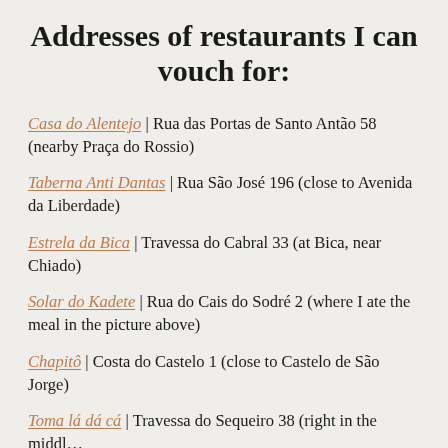Addresses of restaurants I can vouch for:
Casa do Alentejo | Rua das Portas de Santo Antão 58 (nearby Praça do Rossio)
Taberna Anti Dantas | Rua São José 196 (close to Avenida da Liberdade)
Estrela da Bica | Travessa do Cabral 33 (at Bica, near Chiado)
Solar do Kadete | Rua do Cais do Sodré 2 (where I ate the meal in the picture above)
Chapitô | Costa do Castelo 1 (close to Castelo de São Jorge)
Toma lá dá cá | Travessa do Sequeiro 38 (right in the middle…